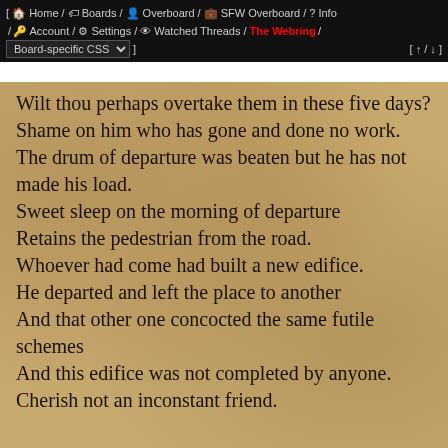[ Home / Boards / Overboard / SFW Overboard / Info / Account / Settings / Watched Threads / The Webring / Board-specific CSS ] [ ↑ / ↓ ]
Wilt thou perhaps overtake them in these five days?
Shame on him who has gone and done no work.
The drum of departure was beaten but he has not made his load.
Sweet sleep on the morning of departure
Retains the pedestrian from the road.
Whoever had come had built a new edifice.
He departed and left the place to another
And that other one concocted the same futile schemes
And this edifice was not completed by anyone.
Cherish not an inconstant friend.